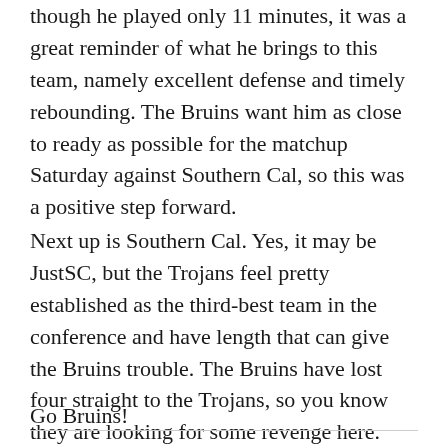though he played only 11 minutes, it was a great reminder of what he brings to this team, namely excellent defense and timely rebounding. The Bruins want him as close to ready as possible for the matchup Saturday against Southern Cal, so this was a positive step forward.
Next up is Southern Cal. Yes, it may be JustSC, but the Trojans feel pretty established as the third-best team in the conference and have length that can give the Bruins trouble. The Bruins have lost four straight to the Trojans, so you know they are looking for some revenge here. Tip-off is scheduled for 7:00 PM PT.
Go Bruins!